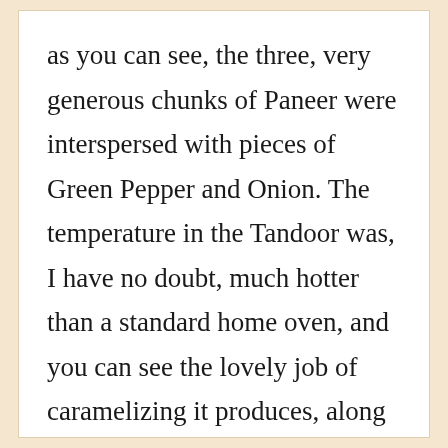as you can see, the three, very generous chunks of Paneer were interspersed with pieces of Green Pepper and Onion. The temperature in the Tandoor was, I have no doubt, much hotter than a standard home oven, and you can see the lovely job of caramelizing it produces, along with just a little smoky